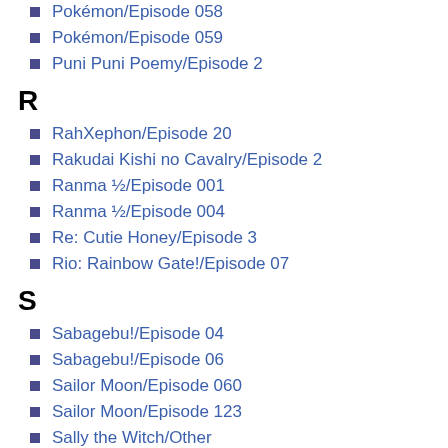Pokémon/Episode 058
Pokémon/Episode 059
Puni Puni Poemy/Episode 2
R
RahXephon/Episode 20
Rakudai Kishi no Cavalry/Episode 2
Ranma ½/Episode 001
Ranma ½/Episode 004
Re: Cutie Honey/Episode 3
Rio: Rainbow Gate!/Episode 07
S
Sabagebu!/Episode 04
Sabagebu!/Episode 06
Sailor Moon/Episode 060
Sailor Moon/Episode 123
Sally the Witch/Other
Sankarea/Episode 04
Sankarea/Episode 08
Seikon no Qwaser/Chapter 003
Seikon no Qwaser/Episode 02
Seitokai no Ichizon Lv.2/Episode 9